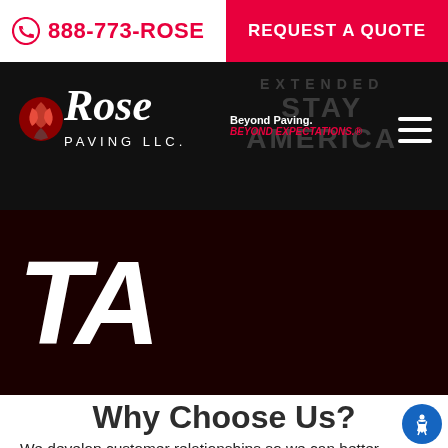888-773-ROSE | REQUEST A QUOTE
[Figure (logo): Rose Paving LLC logo with rose flower icon, white text on black background, taglines: 'Beyond Paving.' and 'BEYOND EXPECTATIONS.']
[Figure (logo): TA logo in large white bold italic text on dark maroon background]
Why Choose Us?
We develop customer relationships so we can better understand your organization, we do want to just service your asphalt and concrete